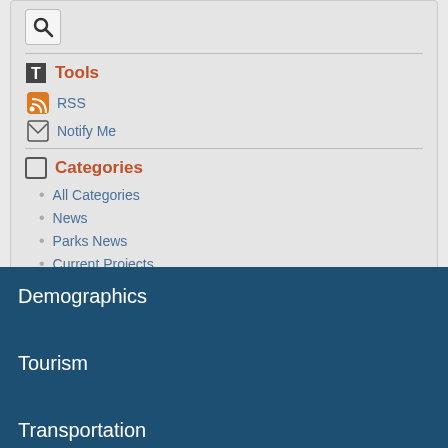[Figure (screenshot): Search icon box with magnifying glass]
Tools
RSS
Notify Me
Categories
All Categories
News
Parks News
Current Projects
Demographics
Tourism
Transportation